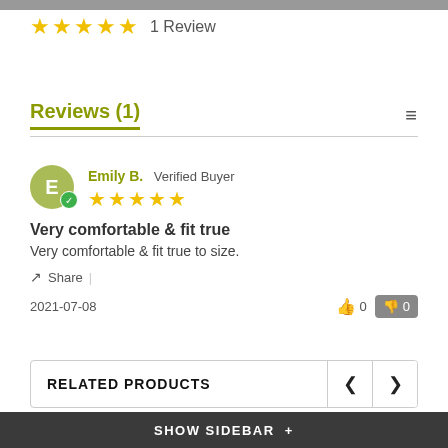[Figure (other): Five gold stars rating with '1 Review' text]
Reviews (1)
[Figure (other): Reviewer avatar circle with letter E and verified badge, followed by Emily B. Verified Buyer with 5 gold stars]
Very comfortable & fit true
Very comfortable & fit true to size.
Share  |
2021-07-08
RELATED PRODUCTS
SHOW SIDEBAR +